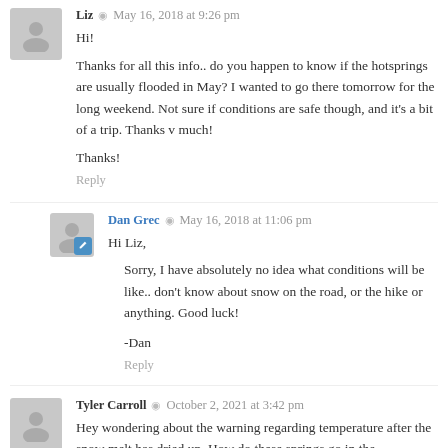Liz · May 16, 2018 at 9:26 pm
Hi!
Thanks for all this info.. do you happen to know if the hotsprings are usually flooded in May? I wanted to go there tomorrow for the long weekend. Not sure if conditions are safe though, and it's a bit of a trip. Thanks v much!
Thanks!
Reply
Dan Grec · May 16, 2018 at 11:06 pm
Hi Liz,
Sorry, I have absolutely no idea what conditions will be like.. don't know about snow on the road, or the hike or anything. Good luck!
-Dan
Reply
Tyler Carroll · October 2, 2021 at 3:42 pm
Hey wondering about the warning regarding temperature after the snow melt has dried up. How do these springs go in the